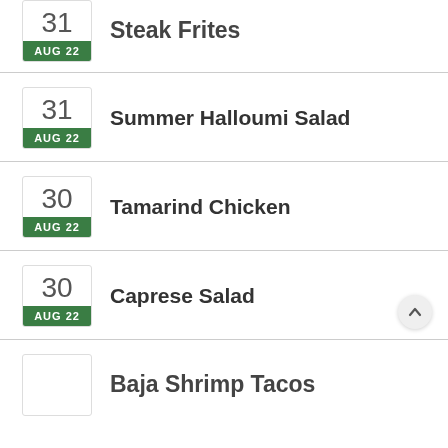31 AUG 22 — Steak Frites
31 AUG 22 — Summer Halloumi Salad
30 AUG 22 — Tamarind Chicken
30 AUG 22 — Caprese Salad
30 AUG 22 — Baja Shrimp Tacos